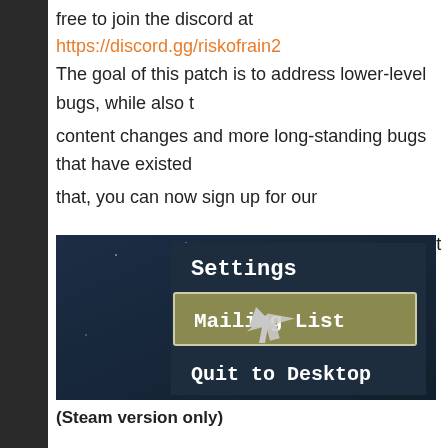free to join the discord at https://discord.gg/riskofrain2
The goal of this patch is to address lower-level bugs, while also t content changes and more long-standing bugs that have existed that, you can now sign up for our mailing list in game to stay updated on our latest announcements
[Figure (screenshot): In-game menu screenshot showing Settings, Mailing List (highlighted with a cursor arrow), and Quit to Desktop options on a dark blue background.]
(Steam version only)